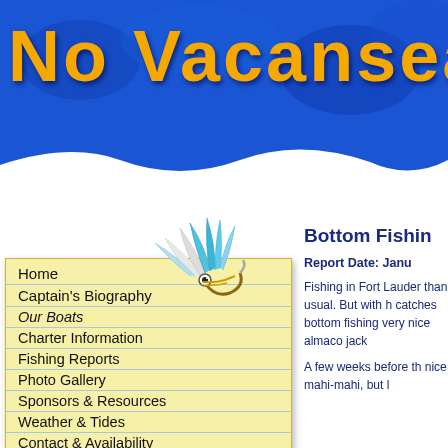No Vacansea
[Figure (illustration): Fishing fly lure illustration with blue and white feathers and a hook]
Home
Captain's Biography
Our Boats
Charter Information
Fishing Reports
Photo Gallery
Sponsors & Resources
Weather & Tides
Contact & Availability
Bottom Fishin
Report Date: Janu
Fishing in Fort Lauder than usual. But with h catches bottom fishing very nice almaco jack
A few weeks before th nice mahi-mahi, but l